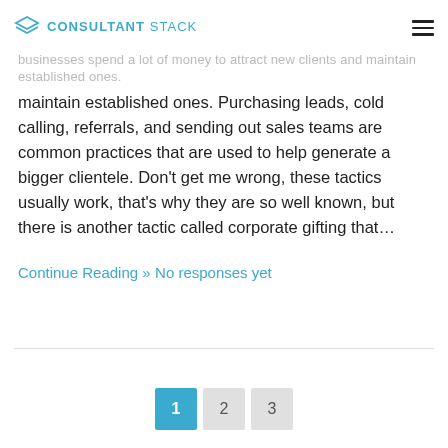CONSULTANT STACK
maintain established ones. Purchasing leads, cold calling, referrals, and sending out sales teams are common practices that are used to help generate a bigger clientele. Don't get me wrong, these tactics usually work, that's why they are so well known, but there is another tactic called corporate gifting that…
Continue Reading »
No responses yet
1 2 3